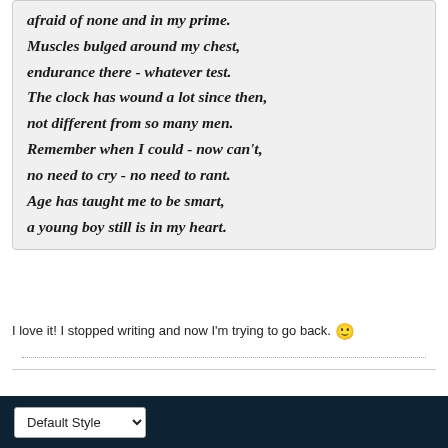afraid of none and in my prime.

Muscles bulged around my chest,

endurance there - whatever test.

The clock has wound a lot since then,

not different from so many men.

Remember when I could - now can't,

no need to cry - no need to rant.

Age has taught me to be smart,

a young boy still is in my heart.
I love it! I stopped writing and now I'm trying to go back. 🙂
Default Style